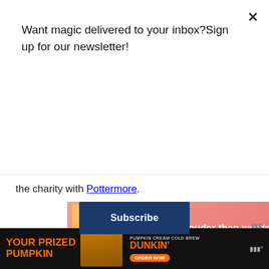Want magic delivered to your inbox?Sign up for our newsletter!
Subscribe
the charity with Pottermore.
[Figure (infographic): Advertisement banner with pink/salmon gradient background, silhouette of person, text 'Actions speak louder than words.']
Lumos has a single, simple goal: to end the institutionalisation of children worldwide by 2050. This is ambitious, but achievable. It is also essential. Eight million voiceless children are currently suffering globally under a system that, according to all
[Figure (infographic): Bottom advertisement bar for Dunkin' Pumpkin Cream Cold Brew with text 'YOUR PRIZED PUMPKIN' and 'DUNKIN' ORDER NOW']